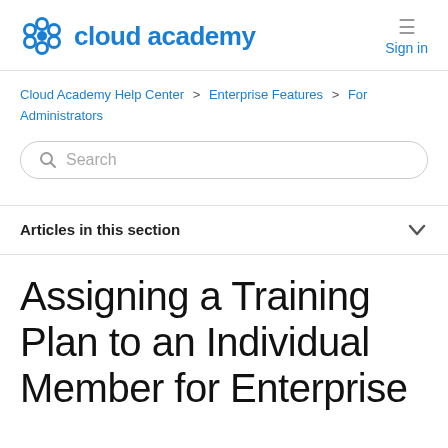[Figure (logo): Cloud Academy logo with blue snowflake/flower icon and 'cloud academy' text in blue]
Sign in
Cloud Academy Help Center > Enterprise Features > For Administrators
Search
Articles in this section
Assigning a Training Plan to an Individual Member for Enterprise